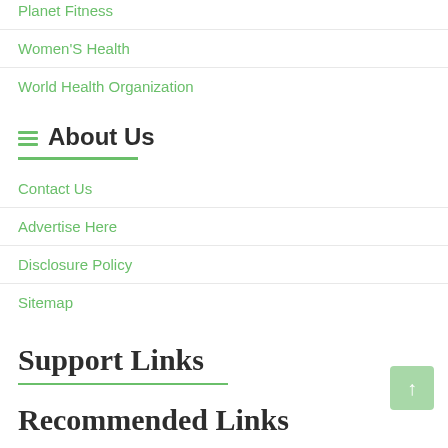Planet Fitness
Women'S Health
World Health Organization
About Us
Contact Us
Advertise Here
Disclosure Policy
Sitemap
Support Links
Recommended Links